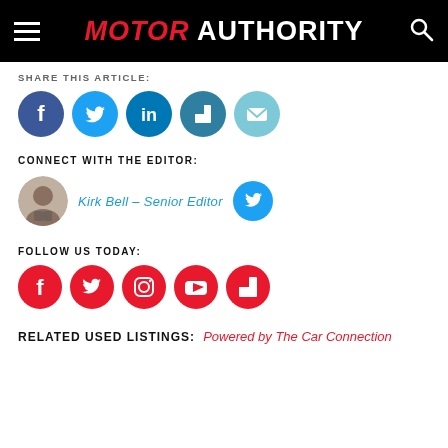MOTOR AUTHORITY
SHARE THIS ARTICLE:
[Figure (other): Social sharing icons: Facebook, Twitter, LinkedIn, Flipboard, Email]
CONNECT WITH THE EDITOR:
[Figure (other): Editor profile: Kirk Bell - Senior Editor with avatar photo and Twitter icon]
FOLLOW US TODAY:
[Figure (other): Follow us social icons: Facebook, Twitter, Instagram, YouTube, Flipboard (red circles)]
RELATED USED LISTINGS: Powered by The Car Connection